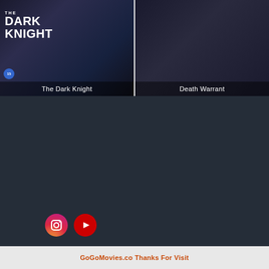[Figure (screenshot): Movie thumbnail for The Dark Knight with dark blue/black background and white text logo]
The Dark Knight
[Figure (screenshot): Movie thumbnail for Death Warrant with dark moody background showing a figure]
Death Warrant
[Figure (logo): Instagram logo icon - pink/magenta circle with camera icon]
[Figure (logo): YouTube logo icon - red circle with play button]
Top IMDB
Request
Trending
Latest Episodes
GoGoMovies.co Thanks For Visit